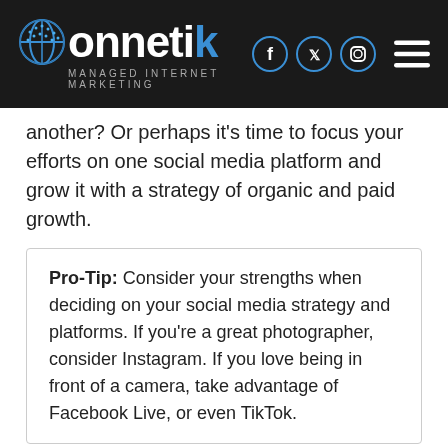Connetik MANAGED INTERNET MARKETING
another? Or perhaps it’s time to focus your efforts on one social media platform and grow it with a strategy of organic and paid growth.
Pro-Tip: Consider your strengths when deciding on your social media strategy and platforms. If you’re a great photographer, consider Instagram. If you love being in front of a camera, take advantage of Facebook Live, or even TikTok.
Paid Advertising
Speaking of paid growth; social media for businesses and Facebook specifically, have become very dependent on paid advertising. Some organizations it’s your source of